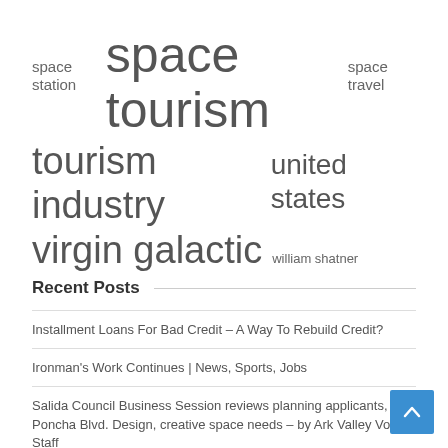space station  space tourism  space travel
tourism industry  united states
virgin galactic  william shatner
Recent Posts
Installment Loans For Bad Credit – A Way To Rebuild Credit?
Ironman's Work Continues | News, Sports, Jobs
Salida Council Business Session reviews planning applicants, Poncha Blvd. Design, creative space needs – by Ark Valley Voice Staff
Employers are struggling to fill vacancies, but are the industry's poor wages and conditions to blame?